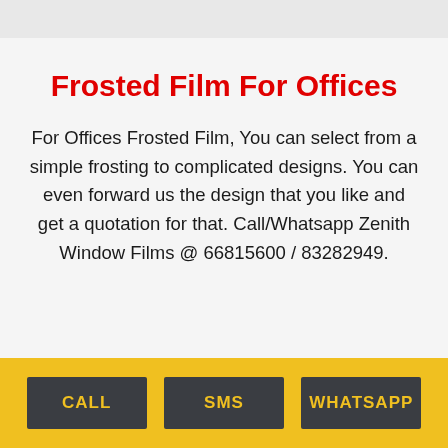Frosted Film For Offices
For Offices Frosted Film, You can select from a simple frosting to complicated designs. You can even forward us the design that you like and get a quotation for that. Call/Whatsapp Zenith Window Films @ 66815600 / 83282949.
CALL   SMS   WHATSAPP